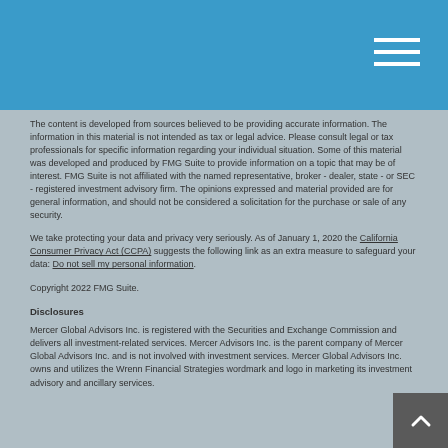The content is developed from sources believed to be providing accurate information. The information in this material is not intended as tax or legal advice. Please consult legal or tax professionals for specific information regarding your individual situation. Some of this material was developed and produced by FMG Suite to provide information on a topic that may be of interest. FMG Suite is not affiliated with the named representative, broker - dealer, state - or SEC - registered investment advisory firm. The opinions expressed and material provided are for general information, and should not be considered a solicitation for the purchase or sale of any security.
We take protecting your data and privacy very seriously. As of January 1, 2020 the California Consumer Privacy Act (CCPA) suggests the following link as an extra measure to safeguard your data: Do not sell my personal information.
Copyright 2022 FMG Suite.
Disclosures
Mercer Global Advisors Inc. is registered with the Securities and Exchange Commission and delivers all investment-related services. Mercer Advisors Inc. is the parent company of Mercer Global Advisors Inc. and is not involved with investment services. Mercer Global Advisors Inc. owns and utilizes the Wrenn Financial Strategies wordmark and logo in marketing its investment advisory and ancillary services.